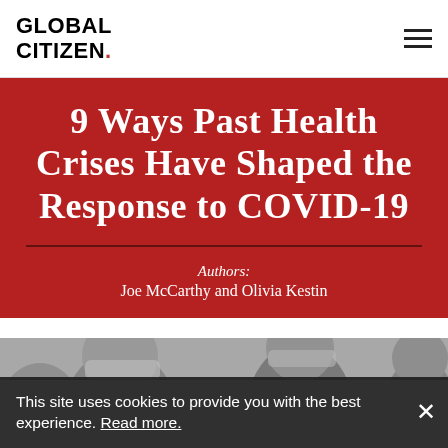GLOBAL CITIZEN.
9 Ways Past Health Crises Have Shaped the Response to COVID-19
Authors: Joe McCarthy and Olivia Kestin
[Figure (photo): Black and white historical photo of people wearing masks]
This site uses cookies to provide you with the best experience. Read more.